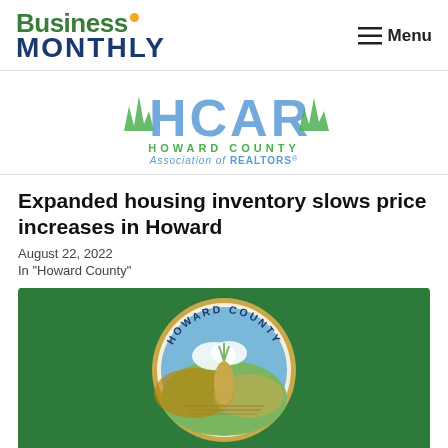Business Monthly — Menu
[Figure (logo): Howard County Association of REALTORS (HCAR) logo with stylized blue letters and green grass]
Expanded housing inventory slows price increases in Howard
August 22, 2022
In "Howard County"
[Figure (photo): Howard County flag — green background with Howard County seal (circular emblem with agricultural landscape scene)]